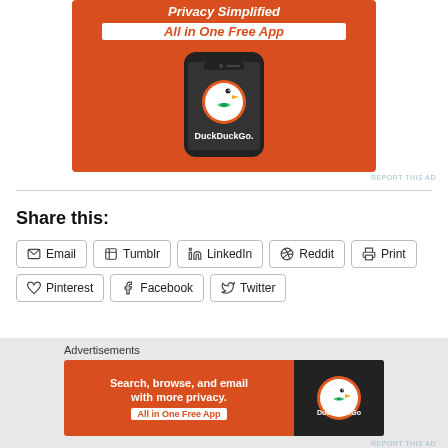[Figure (photo): DuckDuckGo advertisement banner showing a smartphone with the DuckDuckGo app logo and text 'All in One Free App' on an orange background]
REPORT THIS AD
Share this:
Email
Tumblr
LinkedIn
Reddit
Print
Pinterest
Facebook
Twitter
Advertisements
[Figure (photo): DuckDuckGo advertisement banner showing 'Search, browse, and email with more privacy. All in One Free App' with DuckDuckGo logo on dark background]